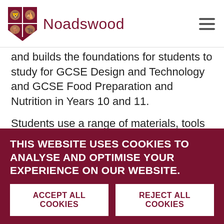Noadswood
and builds the foundations for students to study for GCSE Design and Technology and GCSE Food Preparation and Nutrition in Years 10 and 11.
Students use a range of materials, tools and equipment to design and improve products found in
THIS WEBSITE USES COOKIES TO ANALYSE AND OPTIMISE YOUR EXPERIENCE ON OUR WEBSITE.
ACCEPT ALL COOKIES
REJECT ALL COOKIES